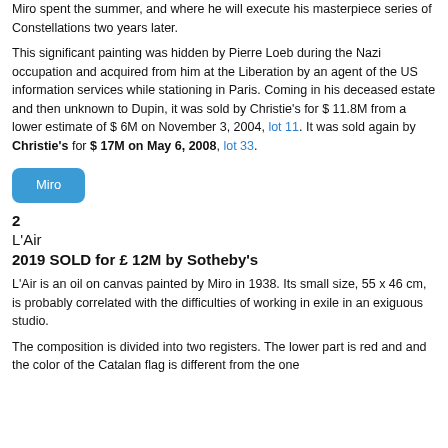Miro spent the summer, and where he will execute his masterpiece series of Constellations two years later.
This significant painting was hidden by Pierre Loeb during the Nazi occupation and acquired from him at the Liberation by an agent of the US information services while stationing in Paris. Coming in his deceased estate and then unknown to Dupin, it was sold by Christie's for $ 11.8M from a lower estimate of $ 6M on November 3, 2004, lot 11. It was sold again by Christie's for $ 17M on May 6, 2008, lot 33.
[Figure (other): Blue rounded button labeled 'Miro']
2
L'Air
2019 SOLD for £ 12M by Sotheby's
L'Air is an oil on canvas painted by Miro in 1938. Its small size, 55 x 46 cm, is probably correlated with the difficulties of working in exile in an exiguous studio.
The composition is divided into two registers. The lower part is red and and the color of the Catalan flag is different from the one...